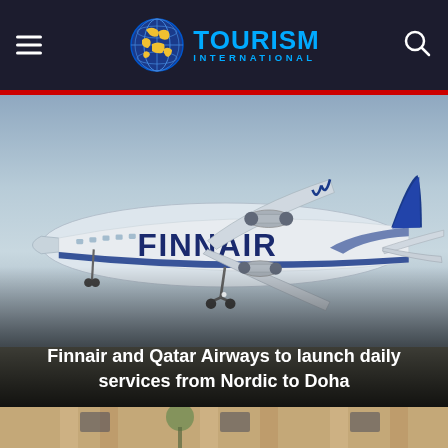Tourism International
[Figure (photo): Finnair commercial aircraft (white and blue livery with FINNAIR text) taking off or landing, photographed from the side/rear quarter against a hazy sky]
Finnair and Qatar Airways to launch daily services from Nordic to Doha
[Figure (photo): Partial view of a building exterior with columns, partially visible at the bottom of the page]